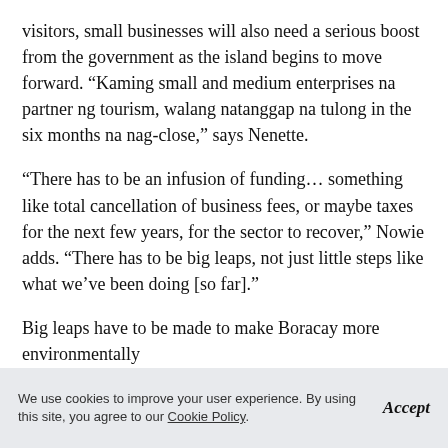visitors, small businesses will also need a serious boost from the government as the island begins to move forward. “Kaming small and medium enterprises na partner ng tourism, walang natanggap na tulong in the six months na nag-close,” says Nenette.
“There has to be an infusion of funding… something like total cancellation of business fees, or maybe taxes for the next few years, for the sector to recover,” Nowie adds. “There has to be big leaps, not just little steps like what we’ve been doing [so far].”
Big leaps have to be made to make Boracay more environmentally
We use cookies to improve your user experience. By using this site, you agree to our Cookie Policy.